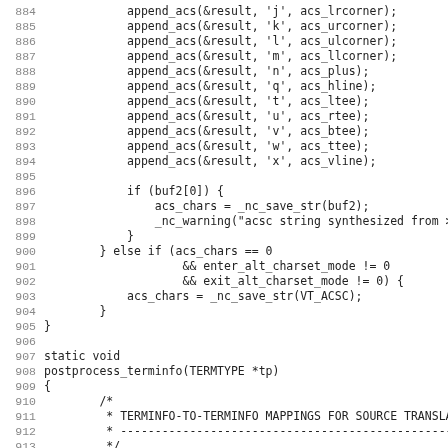Source code listing, lines 884-915, showing C code with append_acs calls, conditional blocks, and postprocess_terminfo function definition.